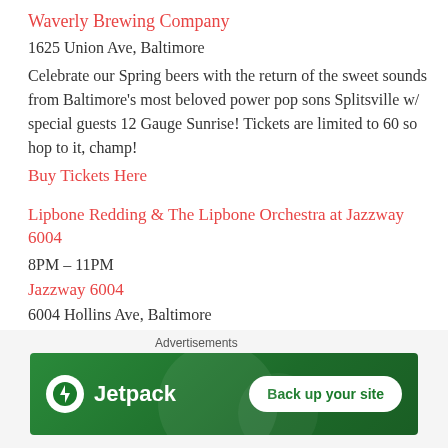Waverly Brewing Company
1625 Union Ave, Baltimore
Celebrate our Spring beers with the return of the sweet sounds from Baltimore's most beloved power pop sons Splitsville w/ special guests 12 Gauge Sunrise! Tickets are limited to 60 so hop to it, champ!
Buy Tickets Here
Lipbone Redding & The Lipbone Orchestra at Jazzway 6004
8PM – 11PM
Jazzway 6004
6004 Hollins Ave, Baltimore
Lipbone Redding is one of the most entertaining and charismatic performers you'll ever experience. A little Dr. John, a little Leone Redbone, but mostly a lot of Lipbone.
[Figure (infographic): Jetpack advertisement banner with green background showing Jetpack logo and 'Back up your site' button]
Advertisements